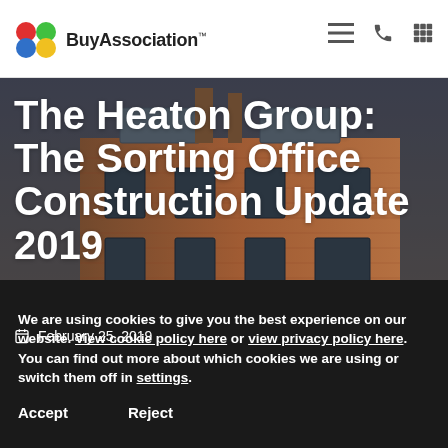BuyAssociation
[Figure (photo): Exterior photo of a red brick building with large windows and rooftop extensions — The Sorting Office development by The Heaton Group]
The Heaton Group: The Sorting Office Construction Update 2019
February 25, 2019
We are using cookies to give you the best experience on our website. View cookie policy here or view privacy policy here. You can find out more about which cookies we are using or switch them off in settings.
Accept
Reject